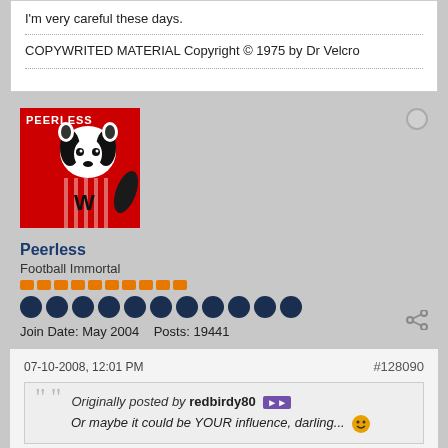I'm very careful these days.
COPYWRITED MATERIAL Copyright © 1975 by Dr Velcro
[Figure (illustration): Avatar image of a badger mascot wearing a red 'W' jersey, labeled 'Peerless' at top, red background]
Peerless
Football Immortal
Join Date: May 2004   Posts: 19441
07-10-2008, 12:01 PM
#128090
Originally posted by redbirdy80
Or maybe it could be YOUR influence, darling... 🙂